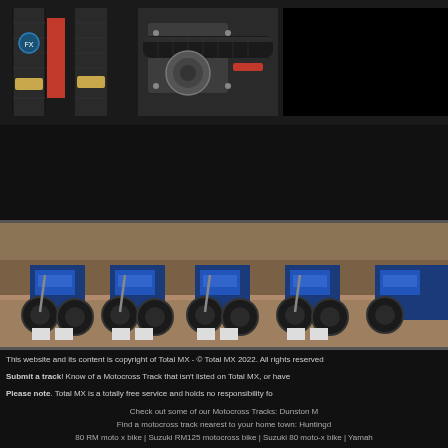[Figure (photo): Carbon fiber motorcycle fork tubes with red accents and gold fittings]
[Figure (photo): Motorcycle engine with carbon fiber exhaust/components close-up]
[Figure (photo): Dark/black area on the right side of the top banner]
[Figure (photo): Row of blue and white motocross bikes lined up on a dirt/sandy track]
This website and its content is copyright of Total MX - © Total MX 2022. All rights reserved
Submit a track! Know of a Motocross Track that isn't listed on Total MX, or have
Please note. Total MX is a totally free service and holds no responsibility fo
Check out some of our Motocross Tracks: Dunston M
Find a motocross track nearest to your home town: Huntingd
80 RM moto x bike | Suzuki RM125 motocross bike | Suzuki 80 moto-x bike | Yamah